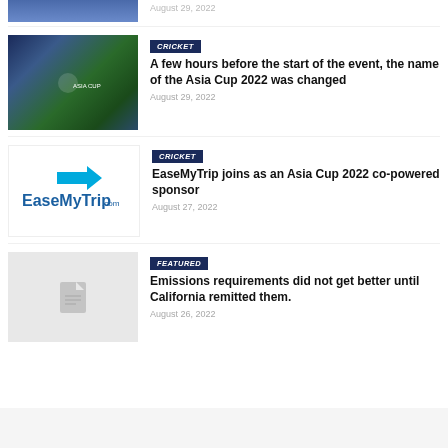[Figure (photo): Partial top image of a cricket player in blue uniform, cropped at top of page]
August 29, 2022
[Figure (photo): Photo of cricket team captains standing at Asia Cup 2022 press conference with trophy]
CRICKET
A few hours before the start of the event, the name of the Asia Cup 2022 was changed
August 29, 2022
[Figure (logo): EaseMyTrip logo with blue arrow and text]
CRICKET
EaseMyTrip joins as an Asia Cup 2022 co-powered sponsor
August 27, 2022
[Figure (photo): Placeholder image with document icon]
FEATURED
Emissions requirements did not get better until California remitted them.
August 26, 2022